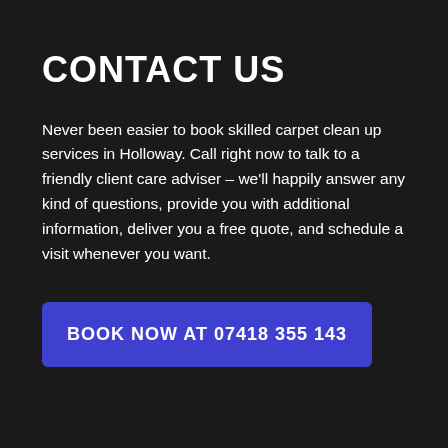CONTACT US
Never been easier to book skilled carpet clean up services in Holloway. Call right now to talk to a friendly client care adviser – we'll happily answer any kind of questions, provide you with additional information, deliver you a free quote, and schedule a visit whenever you want.
BOOK NOW AT 07418 355 143